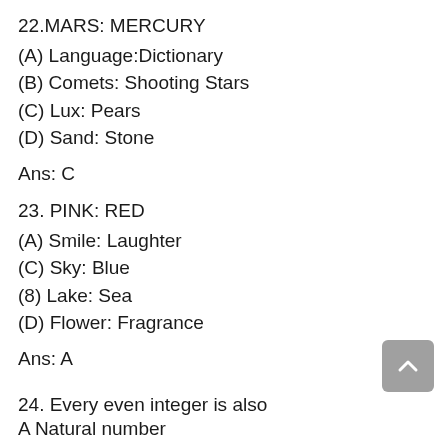22.MARS: MERCURY
(A) Language:Dictionary
(B) Comets: Shooting Stars
(C) Lux: Pears
(D) Sand: Stone
Ans: C
23. PINK: RED
(A) Smile: Laughter
(C) Sky: Blue
(8) Lake: Sea
(D) Flower: Fragrance
Ans: A
24. Every even integer is also
A Natural number